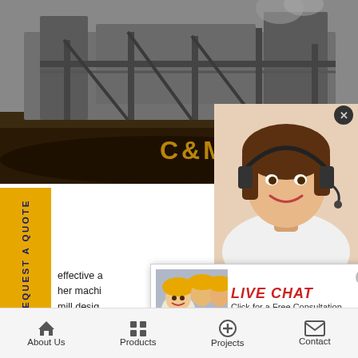[Figure (photo): Mining/crushing machinery equipment at a construction or quarry site, aerial view with dark earth/ground]
C&M  Mach
effective a
her machi
mill desig
hing scre
nanmm gol
eriacuore d
anganese ore rock crusher machine in Kazakh
ile crusher - Search 100mm vertical boring ma
her for sale in ks grinding coldworkinging glasg
her integrated placer gold separating plant spe
jetar standar stone crushing machine in korea
[Figure (screenshot): Live Chat popup with workers in hard hats, red LIVE CHAT text, Click for a Free Consultation, Chat now and Chat later buttons]
[Figure (photo): Female customer service representative with headset, smiling]
REQUEST A QUOTE
ave any requests,
ick here.
Quotation
Enquiry
drobilkalm
@gmail.com
About Us    Products    Projects    Contact